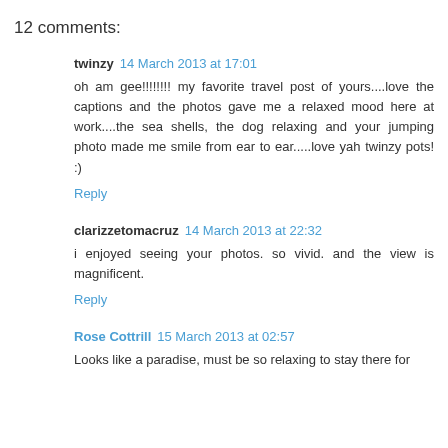12 comments:
twinzy  14 March 2013 at 17:01
oh am gee!!!!!!!! my favorite travel post of yours....love the captions and the photos gave me a relaxed mood here at work....the sea shells, the dog relaxing and your jumping photo made me smile from ear to ear.....love yah twinzy pots! :)
Reply
clarizzetomacruz  14 March 2013 at 22:32
i enjoyed seeing your photos. so vivid. and the view is magnificent.
Reply
Rose Cottrill  15 March 2013 at 02:57
Looks like a paradise, must be so relaxing to stay there for